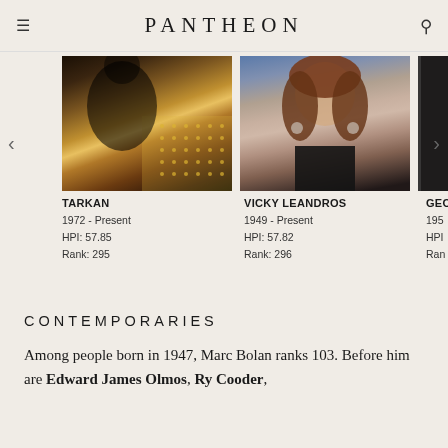PANTHEON
[Figure (photo): Photo of Tarkan performing on stage with sparkly lights in background]
TARKAN
1972 - Present
HPI: 57.85
Rank: 295
[Figure (photo): Photo of Vicky Leandros smiling at an event, wearing a black outfit]
VICKY LEANDROS
1949 - Present
HPI: 57.82
Rank: 296
[Figure (photo): Partially visible photo of a third person (GEO...) in dark clothing]
GEO
195
HPI
Ran
CONTEMPORARIES
Among people born in 1947, Marc Bolan ranks 103. Before him are Edward James Olmos, Ry Cooder,